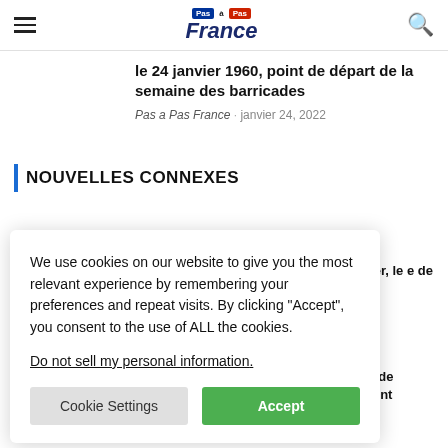Pas à Pas France
le 24 janvier 1960, point de départ de la semaine des barricades
Pas a Pas France · janvier 24, 2022
NOUVELLES CONNEXES
We use cookies on our website to give you the most relevant experience by remembering your preferences and repeat visits. By clicking "Accept", you consent to the use of ALL the cookies.

Do not sell my personal information.
Cookie Settings  Accept
acemaker, le e de « The
l'isthme de oursuivent
021